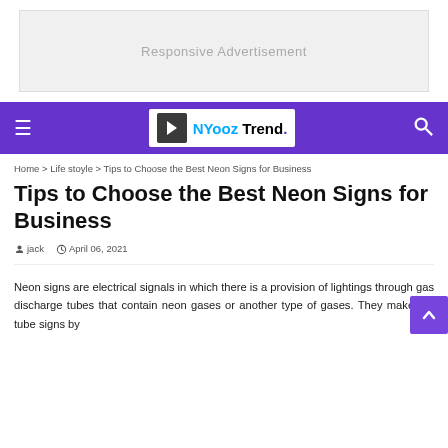[Figure (other): Responsive Advertisement banner placeholder]
NYooz Trend — navigation bar with hamburger menu, logo, and search icon
Home > Life stoyle > Tips to Choose the Best Neon Signs for Business
Tips to Choose the Best Neon Signs for Business
jack   April 06, 2021
Neon signs are electrical signals in which there is a provision of lightings through gas discharge tubes that contain neon gases or another type of gases. They make the tube signs by